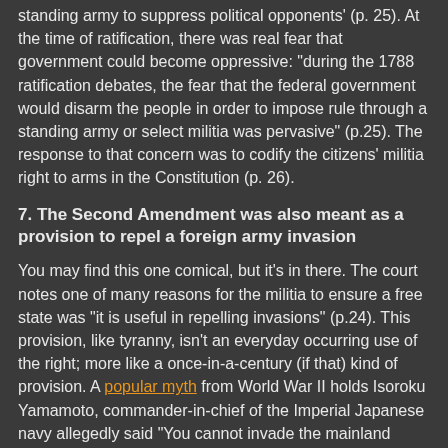standing army to suppress political opponents' (p. 25). At the time of ratification, there was real fear that government could become oppressive: "during the 1788 ratification debates, the fear that the federal government would disarm the people in order to impose rule through a standing army or select militia was pervasive" (p.25). The response to that concern was to codify the citizens' militia right to arms in the Constitution (p. 26).
7. The Second Amendment was also meant as a provision to repel a foreign army invasion
You may find this one comical, but it's in there. The court notes one of many reasons for the militia to ensure a free state was "it is useful in repelling invasions" (p.24). This provision, like tyranny, isn't an everyday occurring use of the right; more like a once-in-a-century (if that) kind of provision. A popular myth from World War II holds Isoroku Yamamoto, commander-in-chief of the Imperial Japanese navy allegedly said "You cannot invade the mainland United States. There would be a rifle behind every blade of grass." Although there is no evidence of him saying this, there was concern that Japan might invade during WWII. Japan did invade Alaska...